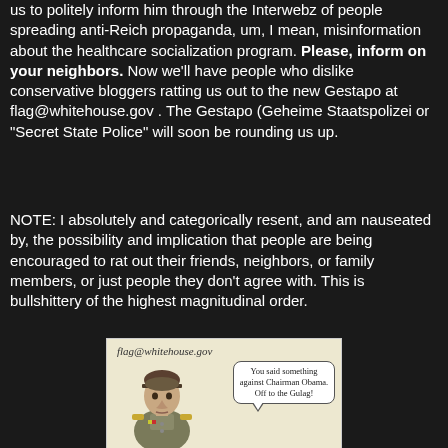us to politely inform him through the Interwebz of people spreading anti-Reich propaganda, um, I mean, misinformation about the healthcare socialization program. Please, inform on your neighbors. Now we'll have people who dislike conservative bloggers ratting us out to the new Gestapo at flag@whitehouse.gov . The Gestapo (Geheime Staatspolizei or "Secret State Police" will soon be rounding us up.
NOTE: I absolutely and categorically resent, and am nauseated by, the possibility and implication that people are being encouraged to rat out their friends, neighbors, or family members, or just people they don't agree with. This is bullshittery of the highest magnitudinal order.
[Figure (illustration): A political cartoon showing a uniformed military/police figure with a speech bubble reading 'You said something against Chairman Obama. Off to the Gulag!' with the text 'flag@whitehouse.gov' at the top.]